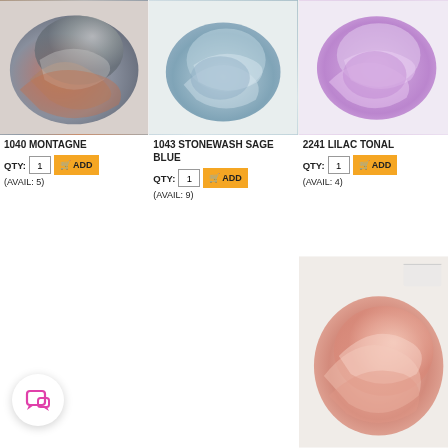[Figure (photo): Skein of yarn in grey and rust/brown tones - 1040 Montagne]
1040 MONTAGNE
QTY: 1  ADD
(AVAIL: 5)
[Figure (photo): Skein of yarn in soft blue-grey tones - 1043 Stonewash Sage Blue]
1043 STONEWASH SAGE BLUE
QTY: 1  ADD
(AVAIL: 9)
[Figure (photo): Skein of yarn in lavender/lilac tones - 2241 Lilac Tonal]
2241 LILAC TONAL
QTY: 1  ADD
(AVAIL: 4)
[Figure (photo): Skein of yarn in pink/salmon tones - partially visible at bottom right]
[Figure (other): Chat widget button with pink speech bubble icon]